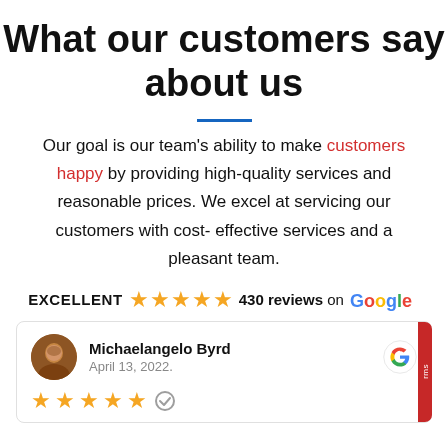What our customers say about us
Our goal is our team's ability to make customers happy by providing high-quality services and reasonable prices. We excel at servicing our customers with cost-effective services and a pleasant team.
EXCELLENT ★★★★½ 430 reviews on Google
Michaelangelo Byrd
April 13, 2022.
★★★★★ ✓